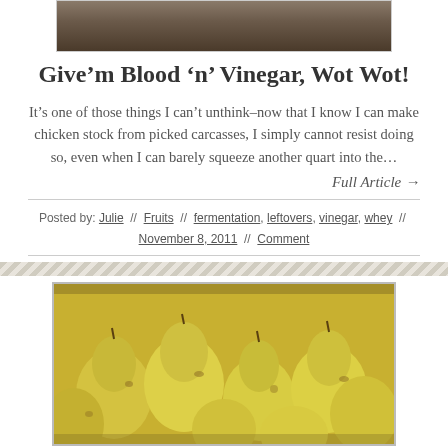[Figure (photo): Photo of jars/canning items on a surface, partially visible at top]
Give'm Blood 'n' Vinegar, Wot Wot!
It's one of those things I can't unthink–now that I know I can make chicken stock from picked carcasses, I simply cannot resist doing so, even when I can barely squeeze another quart into the...
Full Article →
Posted by: Julie // Fruits // fermentation, leftovers, vinegar, whey // November 8, 2011 // Comment
[Figure (photo): Photo of yellow/green pears clustered together in a box]